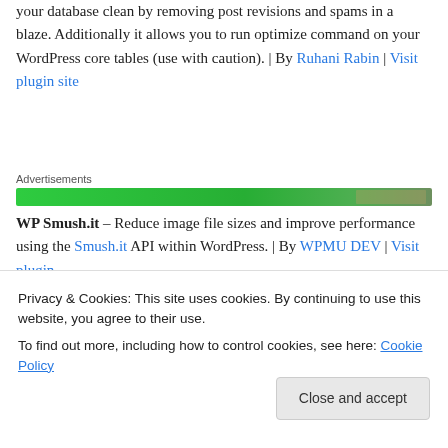your database clean by removing post revisions and spams in a blaze. Additionally it allows you to run optimize command on your WordPress core tables (use with caution). | By Ruhani Rabin | Visit plugin site
Advertisements
[Figure (other): Green advertisement banner bar]
WP Smush.it – Reduce image file sizes and improve performance using the Smush.it API within WordPress. | By WPMU DEV | Visit plugin
Privacy & Cookies: This site uses cookies. By continuing to use this website, you agree to their use.
To find out more, including how to control cookies, see here: Cookie Policy